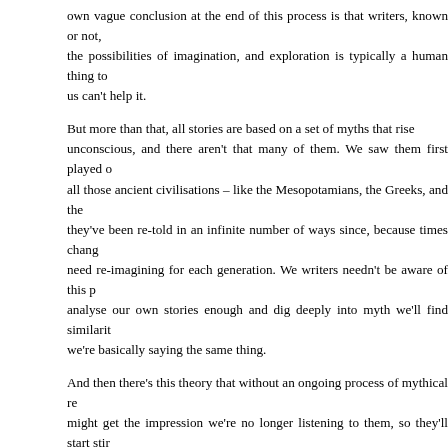own vague conclusion at the end of this process is that writers, known or not, the possibilities of imagination, and exploration is typically a human thing to us can't help it.
But more than that, all stories are based on a set of myths that rise unconscious, and there aren't that many of them. We saw them first played out all those ancient civilisations – like the Mesopotamians, the Greeks, and the they've been re-told in an infinite number of ways since, because times chang need re-imagining for each generation. We writers needn't be aware of this p analyse our own stories enough and dig deeply into myth we'll find similarit we're basically saying the same thing.
And then there's this theory that without an ongoing process of mythical re might get the impression we're no longer listening to them, so they'll start stir unleashing troublesome daemons among us, hastening our decent int something fresh can rise from the ruins. So, creative types on this side of avoid the ruination by placating the Gods, the Daemons, the Muses, or wh notes, by refashioning the myths to keep them fresh in people's heads.
Well that's fine, you say, but no publisher's interested, so you stick your dam where you're lucky if half a dozen people see it. What's the point in that? We problem. You've done your bit, and it may be that if only a dozen people se they're the only ones it needed to speak to. And yes, all right, that's romantic, a somewhat daring thing to say in the wrong company, but it has a certain my and I like to believe in it.